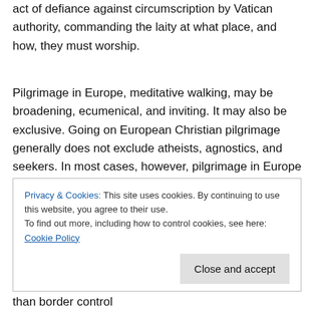act of defiance against circumscription by Vatican authority, commanding the laity at what place, and how, they must worship.
Pilgrimage in Europe, meditative walking, may be broadening, ecumenical, and inviting. It may also be exclusive. Going on European Christian pilgrimage generally does not exclude atheists, agnostics, and seekers. In most cases, however, pilgrimage in Europe is Christian pilgrimage and excludes those of other faiths.
Today, as in ages past, it is the pluralism of Christians and
than border control
Privacy & Cookies: This site uses cookies. By continuing to use this website, you agree to their use.
To find out more, including how to control cookies, see here: Cookie Policy